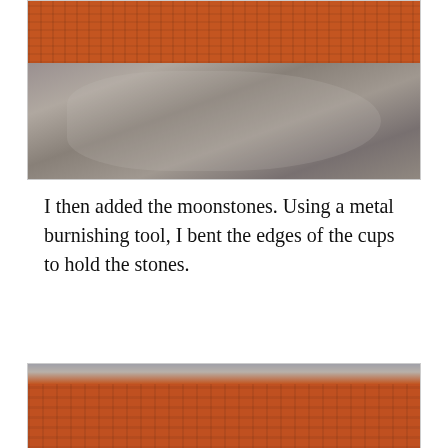[Figure (photo): Close-up photo of orange/rust-colored knitted textile resting on a dark metal burnishing tool surface. The knit is visible in the top portion and the metal tool blade is shown below.]
I then added the moonstones. Using a metal burnishing tool, I bent the edges of the cups to hold the stones.
[Figure (photo): Close-up photo of orange/rust-colored knitted textile with a metal tool visible at the top edge of the image.]